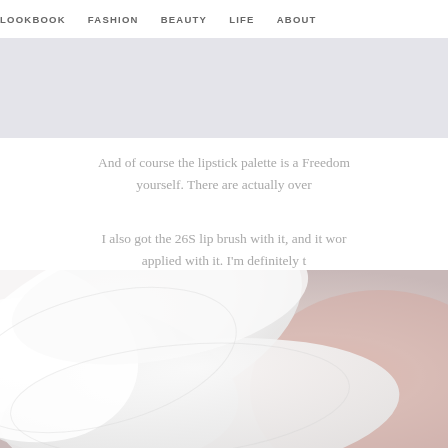LOOKBOOK   FASHION   BEAUTY   LIFE   ABOUT
[Figure (other): Light gray horizontal banner/advertisement area]
And of course the lipstick palette is a Freedom yourself. There are actually over
I also got the 26S lip brush with it, and it wor applied with it. I'm definitely t
[Figure (photo): Close-up photo of white flower petals with soft pink background]